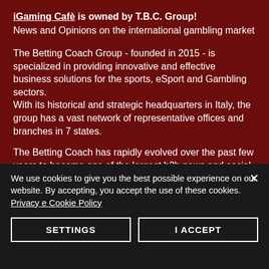iGaming Cafè is owned by T.B.C. Group! News and Opinions on the international gambling market
The Betting Coach Group - founded in 2015 - is specialized in providing innovative and effective business solutions for the sports, eSport and Gambling sectors. With its historical and strategic headquarters in Italy, the group has a vast network of representative offices and branches in 7 states.
The Betting Coach has rapidly evolved over the past few years to become one of the largest b2b news and social marketing networks in the world.
We use cookies to give you the best possible experience on our website. By accepting, you accept the use of these cookies. Privacy e Cookie Policy
SETTINGS
I ACCEPT